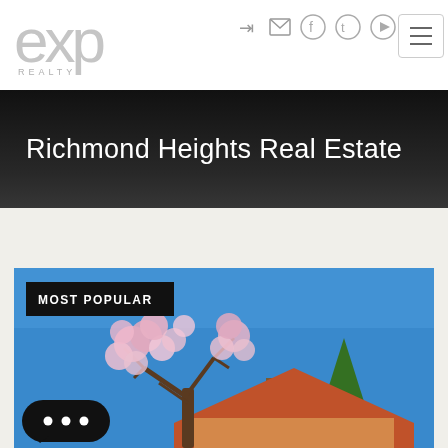[Figure (logo): eXp Realty logo in gray]
Navigation icons: login, mail, Facebook, Twitter, YouTube, hamburger menu
Richmond Heights Real Estate
[Figure (photo): Exterior photo of a residential property with cherry blossom tree and evergreen tree under clear blue sky, 'MOST POPULAR' badge overlay, chat widget button]
MOST POPULAR